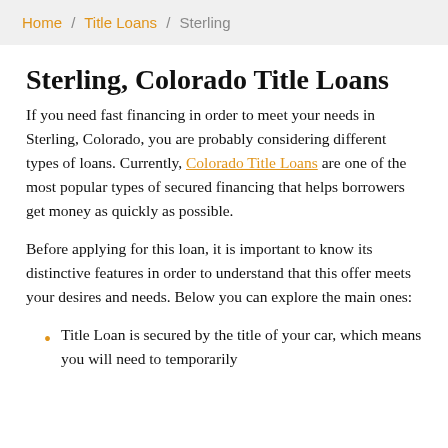Home / Title Loans / Sterling
Sterling, Colorado Title Loans
If you need fast financing in order to meet your needs in Sterling, Colorado, you are probably considering different types of loans. Currently, Colorado Title Loans are one of the most popular types of secured financing that helps borrowers get money as quickly as possible.
Before applying for this loan, it is important to know its distinctive features in order to understand that this offer meets your desires and needs. Below you can explore the main ones:
Title Loan is secured by the title of your car, which means you will need to temporarily